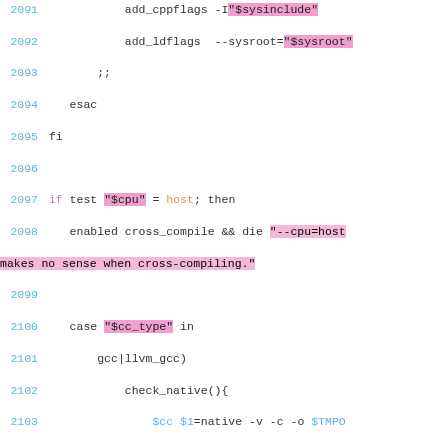[Figure (screenshot): Shell script source code snippet with syntax highlighting, lines 2091-2111, showing cross-compilation configuration logic including add_cppflags, add_ldflags, cpu/host checks, case statement for cc_type, check_native function, and sed commands.]